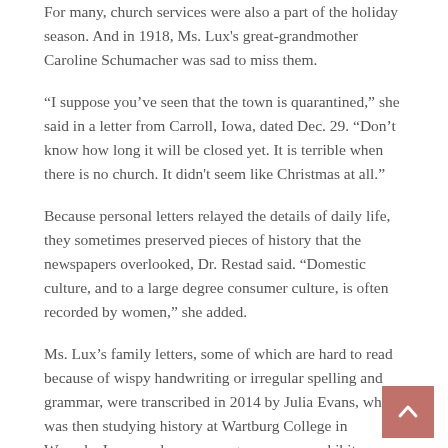For many, church services were also a part of the holiday season. And in 1918, Ms. Lux's great-grandmother Caroline Schumacher was sad to miss them.
“I suppose you’ve seen that the town is quarantined,” she said in a letter from Carroll, Iowa, dated Dec. 29. “Don’t know how long it will be closed yet. It is terrible when there is no church. It didn't seem like Christmas at all.”
Because personal letters relayed the details of daily life, they sometimes preserved pieces of history that the newspapers overlooked, Dr. Restad said. “Domestic culture, and to a large degree consumer culture, is often recorded by women,” she added.
Ms. Lux’s family letters, some of which are hard to read because of wispy handwriting or irregular spelling and grammar, were transcribed in 2014 by Julia Evans, who was then studying history at Wartburg College in Waverly, Iowa, and now manages museum exhibits.